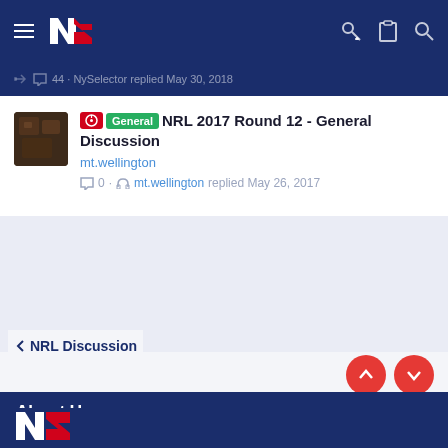NZ Warriors Forum navigation header
🗨 44 · NySelector replied May 30, 2018
NRL 2017 Round 12 - General Discussion
mt.wellington
🗨 0 · mt.wellington replied May 26, 2017
< NRL Discussion
About Us